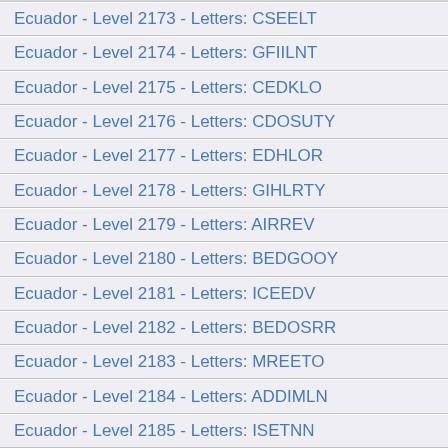Ecuador - Level 2173 - Letters: CSEELT
Ecuador - Level 2174 - Letters: GFIILNT
Ecuador - Level 2175 - Letters: CEDKLO
Ecuador - Level 2176 - Letters: CDOSUTY
Ecuador - Level 2177 - Letters: EDHLOR
Ecuador - Level 2178 - Letters: GIHLRTY
Ecuador - Level 2179 - Letters: AIRREV
Ecuador - Level 2180 - Letters: BEDGOOY
Ecuador - Level 2181 - Letters: ICEEDV
Ecuador - Level 2182 - Letters: BEDOSRR
Ecuador - Level 2183 - Letters: MREETO
Ecuador - Level 2184 - Letters: ADDIMLN
Ecuador - Level 2185 - Letters: ISETNN